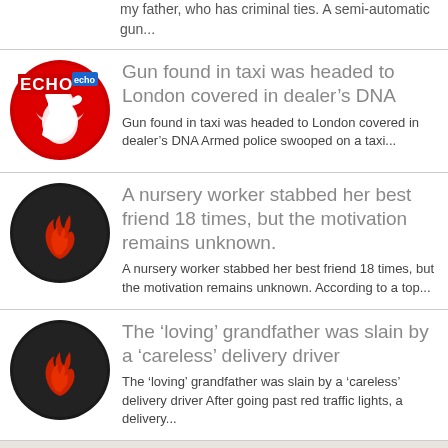my father, who has criminal ties. A semi-automatic gun...
[Figure (logo): Liverpool Echo logo - red circle with white liver bird and ECHO text]
Gun found in taxi was headed to London covered in dealer's DNA
Gun found in taxi was headed to London covered in dealer's DNA Armed police swooped on a taxi...
[Figure (logo): Dark circular logo with red flame/swirl icon]
A nursery worker stabbed her best friend 18 times, but the motivation remains unknown.
A nursery worker stabbed her best friend 18 times, but the motivation remains unknown. According to a top...
[Figure (logo): Dark circular logo with red flame/swirl icon]
The ‘loving’ grandfather was slain by a ‘careless’ delivery driver
The ‘loving’ grandfather was slain by a ‘careless’ delivery driver After going past red traffic lights, a delivery...